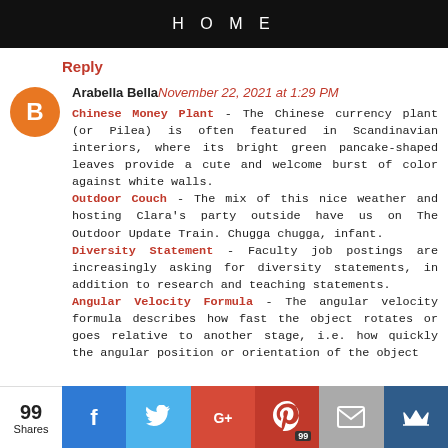HOME
Reply
Arabella Bella November 22, 2021 at 1:29 PM
Chinese Money Plant - The Chinese currency plant (or Pilea) is often featured in Scandinavian interiors, where its bright green pancake-shaped leaves provide a cute and welcome burst of color against white walls.
Outdoor Couch - The mix of this nice weather and hosting Clara's party outside have us on The Outdoor Update Train. Chugga chugga, infant.
Diversity Statement - Faculty job postings are increasingly asking for diversity statements, in addition to research and teaching statements.
Angular Velocity Formula - The angular velocity formula describes how fast the object rotates or goes relative to another stage, i.e. how quickly the angular position or orientation of the object